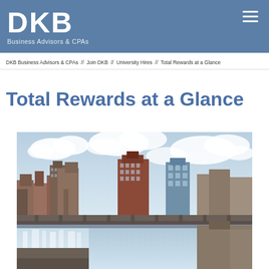DKB Business Advisors & CPAs
DKB Business Advisors & CPAs // Join DKB // University Hires // Total Rewards at a Glance
Total Rewards at a Glance
[Figure (photo): Cityscape photo showing an urban skyline with buildings and a waterfall in the foreground, under a partly cloudy sky. Appears to be Rochester, NY area.]